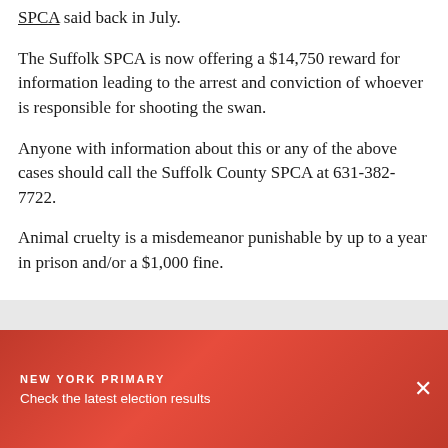SPCA said back in July.
The Suffolk SPCA is now offering a $14,750 reward for information leading to the arrest and conviction of whoever is responsible for shooting the swan.
Anyone with information about this or any of the above cases should call the Suffolk County SPCA at 631-382-7722.
Animal cruelty is a misdemeanor punishable by up to a year in prison and/or a $1,000 fine.
NEW YORK PRIMARY
Check the latest election results